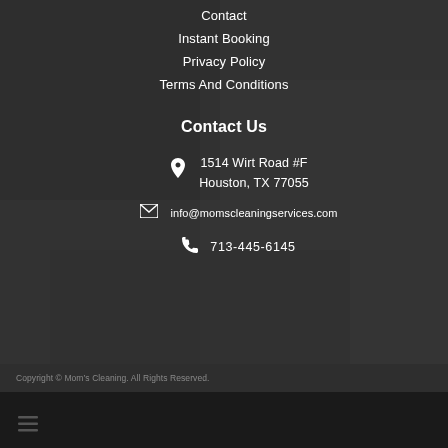Contact
Instant Booking
Privacy Policy
Terms And Conditions
Contact Us
1514 Wirt Road #F
Houston, TX 77055
info@momscleaningservices.com
713-445-6145
Copyright © Mom's Cleaning. All Rights Reserved.